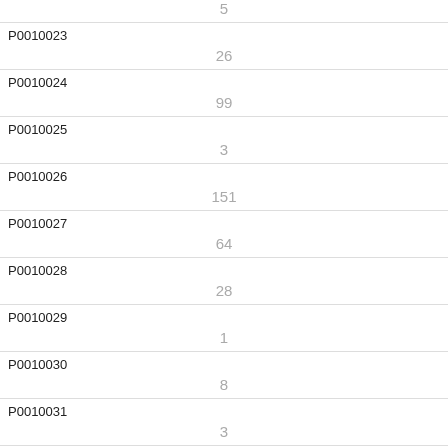| ID | Value |
| --- | --- |
|  | 5 |
| P0010023 | 26 |
| P0010024 | 99 |
| P0010025 | 3 |
| P0010026 | 151 |
| P0010027 | 64 |
| P0010028 | 28 |
| P0010029 | 1 |
| P0010030 | 8 |
| P0010031 | 3 |
| P0010032 | 1 |